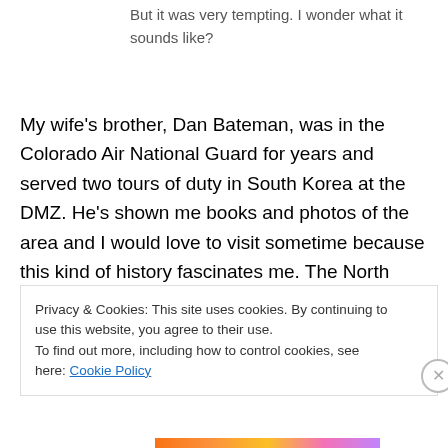But it was very tempting. I wonder what it sounds like?
My wife’s brother, Dan Bateman, was in the Colorado Air National Guard for years and served two tours of duty in South Korea at the DMZ. He’s shown me books and photos of the area and I would love to visit sometime because this kind of history fascinates me. The North Korean government wants us to think that everything is fine there, with happy and productive people. They have built an entire city within view of guards on the south side of the DMZ with people living there to prove how
Privacy & Cookies: This site uses cookies. By continuing to use this website, you agree to their use.
To find out more, including how to control cookies, see here: Cookie Policy
Close and accept